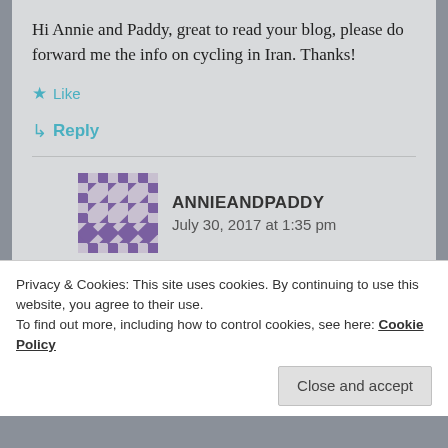Hi Annie and Paddy, great to read your blog, please do forward me the info on cycling in Iran. Thanks!
★ Like
↳ Reply
ANNIEANDPADDY
July 30, 2017 at 1:35 pm
Please provide an email we won't post it so it'll remain private
Privacy & Cookies: This site uses cookies. By continuing to use this website, you agree to their use.
To find out more, including how to control cookies, see here: Cookie Policy
Close and accept